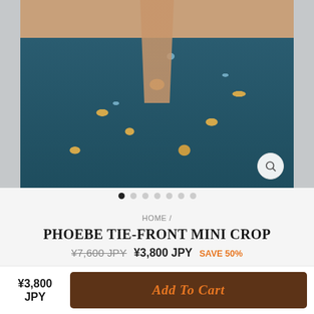[Figure (photo): Model wearing teal/navy floral tie-front mini crop dress, showing open back, against stone wall background. Image shown with left and right side strips partially visible.]
HOME /
PHOEBE TIE-FRONT MINI CROP
¥7,600 JPY  ¥3,800 JPY  SAVE 50%
Or 4 payments of ¥1 with sezzle ⓘ
¥3,800 JPY
Add To Cart